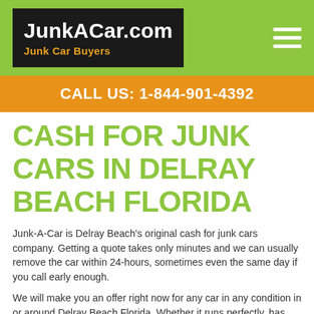[Figure (logo): JunkACar.com logo with dark background, white bold text 'JunkACar.com' and orange subtitle 'Junk Car Buyers']
CALL US: 1-844-901-4392
CASH FOR JUNK CARS IN DELRAY BEACH FLORIDA
Junk-A-Car is Delray Beach's original cash for junk cars company. Getting a quote takes only minutes and we can usually remove the car within 24-hours, sometimes even the same day if you call early enough.
We will make you an offer right now for any car in any condition in or around Delray Beach Florida. Whether it runs perfectly, has mechanical issues, has been in an accident we will make you an offer over the phone right now.
Delray Beach area residents who want to sell a car, SUV, pick-up or commercial truck can get a top-dollar offer for thier car right now. Physical or mechanical damage is no problem, every car has value